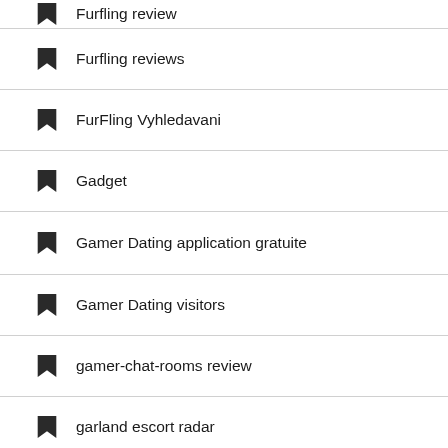Furfling review
Furfling reviews
FurFling Vyhledavani
Gadget
Gamer Dating application gratuite
Gamer Dating visitors
gamer-chat-rooms review
garland escort radar